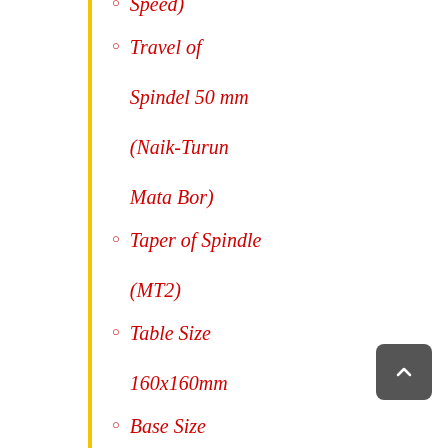Travel of Spindel 50 mm (Naik-Turun Mata Bor)
Taper of Spindle (MT2)
Table Size 160x160mm
Base Size 200x314 mm
Spareparts tersedia lengkap
Berat : 16 Kg